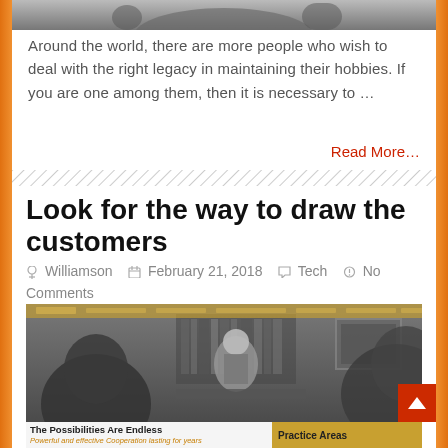[Figure (photo): Top cropped image strip showing a partial photograph]
Around the world, there are more people who wish to deal with the right legacy in maintaining their hobbies. If you are one among them, then it is necessary to …
Read More…
Look for the way to draw the customers
Williamson   February 21, 2018   Tech   No Comments
[Figure (photo): Black and white photo of a man in a suit sitting at a desk in an office setting, with other people partially visible in the foreground]
The Possibilities Are Endless
Powerful and effective Cooperation lasting for years
Practice Areas